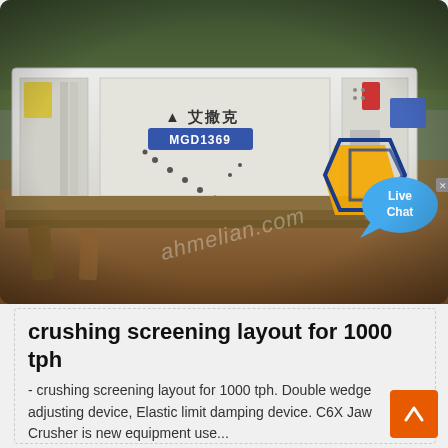[Figure (photo): Industrial crushing and screening machine (labeled MGD1369) on a construction/mining site with trees in the background. A live chat bubble and brand logo badge are visible as UI overlays. Watermark text reads 'ahmelian.com'.]
crushing screening layout for 1000 tph
- crushing screening layout for 1000 tph. Double wedge adjusting device, Elastic limit damping device. C6X Jaw Crusher is new equipment use...